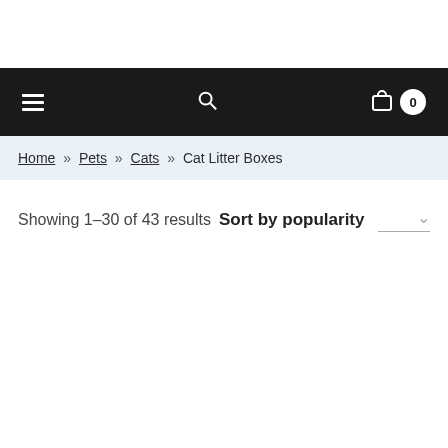Navigation bar with menu, search, and cart (0 items)
Home » Pets » Cats » Cat Litter Boxes
Showing 1–30 of 43 results  Sort by popularity